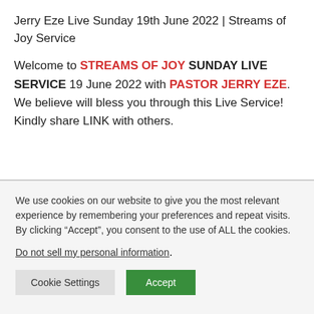Jerry Eze Live Sunday 19th June 2022 | Streams of Joy Service
Welcome to STREAMS OF JOY SUNDAY LIVE SERVICE 19 June 2022 with PASTOR JERRY EZE. We believe will bless you through this Live Service! Kindly share LINK with others.
We use cookies on our website to give you the most relevant experience by remembering your preferences and repeat visits. By clicking “Accept”, you consent to the use of ALL the cookies.
Do not sell my personal information.
Cookie Settings | Accept